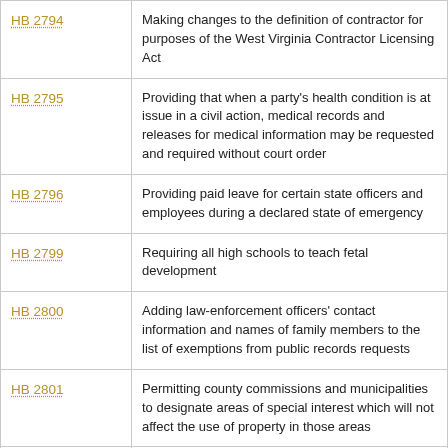| Bill | Description |
| --- | --- |
| HB 2794 | Making changes to the definition of contractor for purposes of the West Virginia Contractor Licensing Act |
| HB 2795 | Providing that when a party's health condition is at issue in a civil action, medical records and releases for medical information may be requested and required without court order |
| HB 2796 | Providing paid leave for certain state officers and employees during a declared state of emergency |
| HB 2799 | Requiring all high schools to teach fetal development |
| HB 2800 | Adding law-enforcement officers' contact information and names of family members to the list of exemptions from public records requests |
| HB 2801 | Permitting county commissions and municipalities to designate areas of special interest which will not affect the use of property in those areas |
| HB 2802 | Relating to public sewage services |
| HB 2803 | Relating to the sale of alcohol by licensed manufacturers |